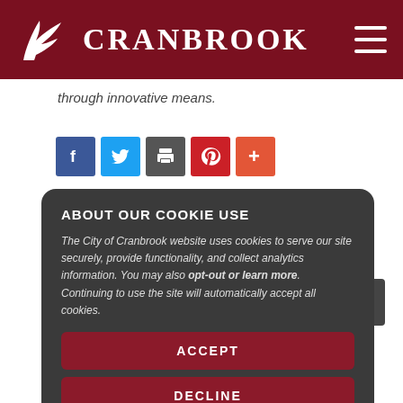CRANBROOK
through innovative means.
[Figure (infographic): Social media sharing icons: Facebook (blue), Twitter (light blue), Print (gray), Pinterest (red), More/Plus (orange-red)]
NEWS
News Archives
August, 2022
July, 2022
June, 2022
ABOUT OUR COOKIE USE
The City of Cranbrook website uses cookies to serve our site securely, provide functionality, and collect analytics information. You may also opt-out or learn more. Continuing to use the site will automatically accept all cookies.
ACCEPT
DECLINE